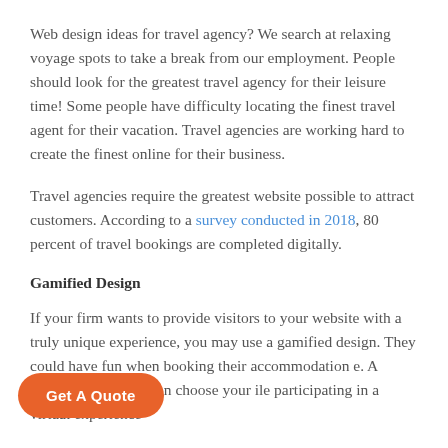Web design ideas for travel agency? We search at relaxing voyage spots to take a break from our employment. People should look for the greatest travel agency for their leisure time! Some people have difficulty locating the finest travel agent for their vacation. Travel agencies are working hard to create the finest online for their business.
Travel agencies require the greatest website possible to attract customers. According to a survey conducted in 2018, 80 percent of travel bookings are completed digitally.
Gamified Design
If your firm wants to provide visitors to your website with a truly unique experience, you may use a gamified design. They could have fun when booking their accommodation e. A website where you can choose your ile participating in a virtual experience
Get A Quote